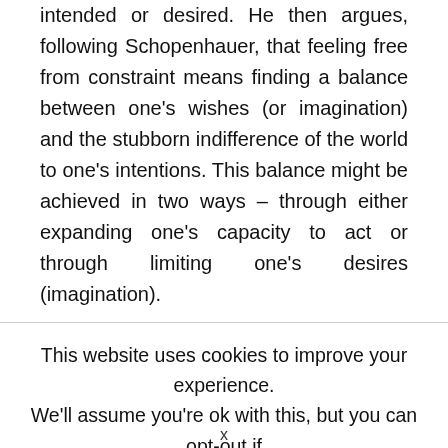intended or desired. He then argues, following Schopenhauer, that feeling free from constraint means finding a balance between one's wishes (or imagination) and the stubborn indifference of the world to one's intentions. This balance might be achieved in two ways – through either expanding one's capacity to act or through limiting one's desires (imagination).
This website uses cookies to improve your experience. We'll assume you're ok with this, but you can opt-out if
x